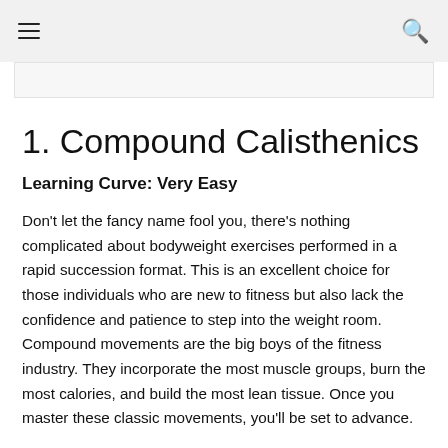≡  🔍
1. Compound Calisthenics
Learning Curve: Very Easy
Don't let the fancy name fool you, there's nothing complicated about bodyweight exercises performed in a rapid succession format. This is an excellent choice for those individuals who are new to fitness but also lack the confidence and patience to step into the weight room. Compound movements are the big boys of the fitness industry. They incorporate the most muscle groups, burn the most calories, and build the most lean tissue. Once you master these classic movements, you'll be set to advance.